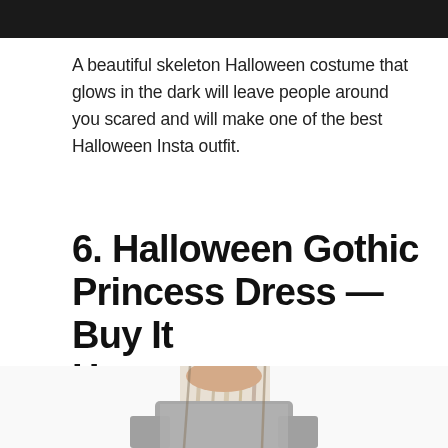[Figure (photo): Top portion of a dark/black image, cropped at the top of the page — appears to be the bottom edge of a skeleton Halloween costume product image.]
A beautiful skeleton Halloween costume that glows in the dark will leave people around you scared and will make one of the best Halloween Insta outfit.
6.  Halloween Gothic Princess Dress — Buy It Here
[Figure (photo): Photo of a woman in a Halloween Gothic Princess Dress costume — grey/silver fabric with long dreadlock-style hair extensions, posing with hands on hips, partially cropped at bottom of page.]